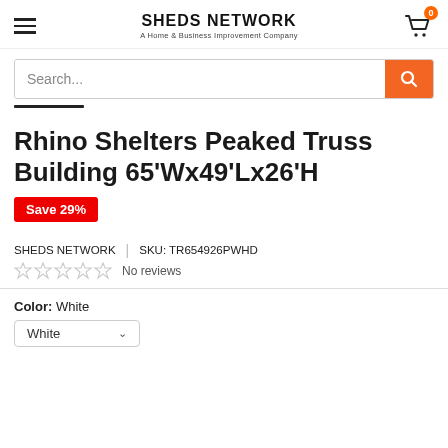SHEDS NETWORK — A Home & Business Improvement Company
Rhino Shelters Peaked Truss Building 65'Wx49'Lx26'H
Save 29%
SHEDS NETWORK | SKU: TR654926PWHD
No reviews
Color: White
White